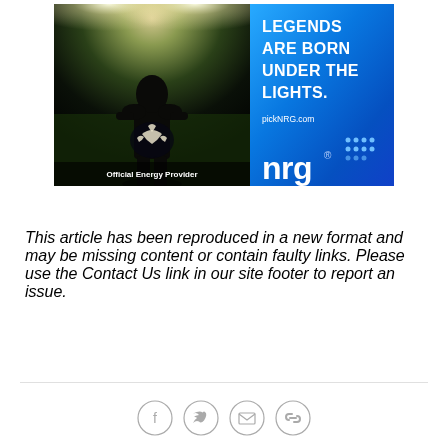[Figure (illustration): NRG energy advertisement banner split into two halves: left side shows a silhouetted football player under stadium lights with Eagles logo and 'Official Energy Provider' text; right side has blue gradient background with 'LEGENDS ARE BORN UNDER THE LIGHTS.' tagline, 'pickNRG.com' URL, and NRG logo with blue dot pattern]
This article has been reproduced in a new format and may be missing content or contain faulty links. Please use the Contact Us link in our site footer to report an issue.